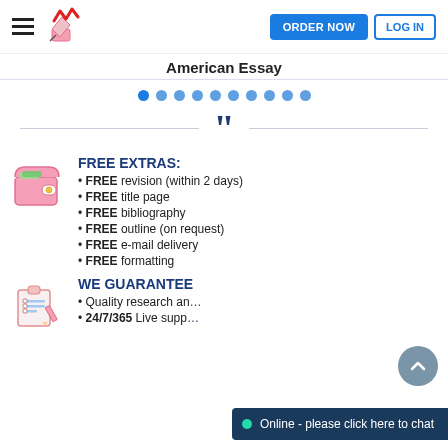American Essay — ORDER NOW | LOG IN
American Essay
[Figure (infographic): Navigation dots row — 10 blue dots]
[Figure (infographic): Large double quotation mark decorative element in dark navy blue]
FREE EXTRAS:
FREE revision (within 2 days)
FREE title page
FREE bibliography
FREE outline (on request)
FREE e-mail delivery
FREE formatting
WE GUARANTEE
Quality research an…
24/7/365 Live supp…